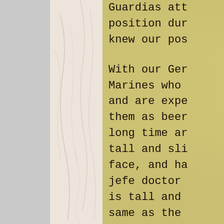Guardias att position dur knew our pos With our Ger Marines who and are expe them as beer long time ar tall and sli face, and ha jefe doctor is tall and same as the know their r their rank o ex-Marines a from Hondura guard. During the m was camped o After the fi troops and G should not h